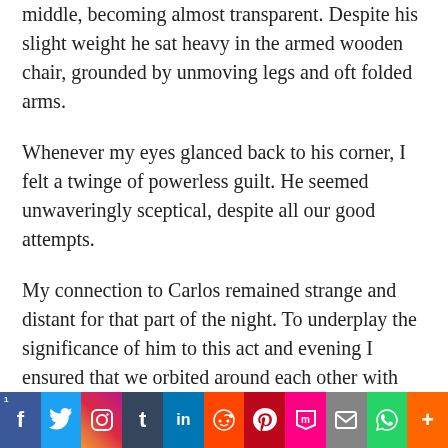middle, becoming almost transparent. Despite his slight weight he sat heavy in the armed wooden chair, grounded by unmoving legs and oft folded arms.
Whenever my eyes glanced back to his corner, I felt a twinge of powerless guilt. He seemed unwaveringly sceptical, despite all our good attempts.
My connection to Carlos remained strange and distant for that part of the night. To underplay the significance of him to this act and evening I ensured that we orbited around each other with